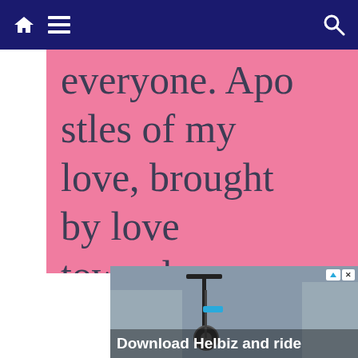Navigation bar with home, menu, and search icons
everyone. Apostles of my love, brought by love towards my Son, bring
[Figure (photo): Advertisement showing a scooter with text 'Download Helbiz and ride' and ad control buttons]